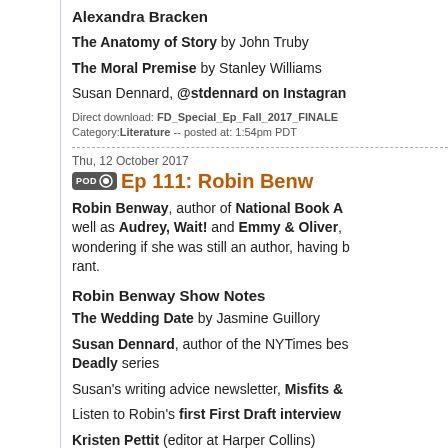Alexandra Bracken
The Anatomy of Story by John Truby
The Moral Premise by Stanley Williams
Susan Dennard, @stdennard on Instagram
Direct download: FD_Special_Ep_Fall_2017_FINALE
Category:Literature -- posted at: 1:54pm PDT
Thu, 12 October 2017
Ep 111: Robin Benw...
Robin Benway, author of National Book A... well as Audrey, Wait! and Emmy & Oliver, wondering if she was still an author, having b... rant.
Robin Benway Show Notes
The Wedding Date by Jasmine Guillory
Susan Dennard, author of the NYTimes bes... Deadly series
Susan's writing advice newsletter, Misfits &...
Listen to Robin's first First Draft interview
Kristen Pettit (editor at Harper Collins)
"Cosmic Love" by Florence and the Machin...